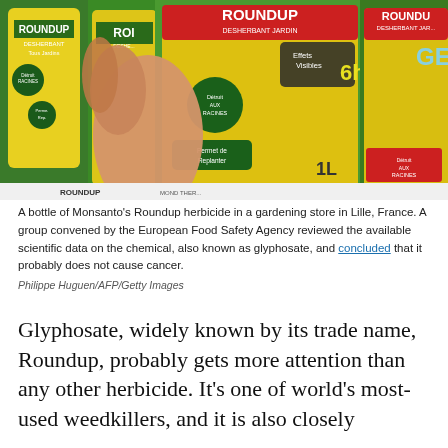[Figure (photo): A hand holding a bottle of Monsanto's Roundup herbicide (DESHERBANT JARDIN, Effets Visibles 6h, Détruit aux Racines, Permet de Replanter, 1L) in a gardening store in Lille, France. Multiple Roundup bottles visible in the background.]
A bottle of Monsanto's Roundup herbicide in a gardening store in Lille, France. A group convened by the European Food Safety Agency reviewed the available scientific data on the chemical, also known as glyphosate, and concluded that it probably does not cause cancer.
Philippe Huguen/AFP/Getty Images
Glyphosate, widely known by its trade name, Roundup, probably gets more attention than any other herbicide. It's one of world's most-used weedkillers, and it is also closely